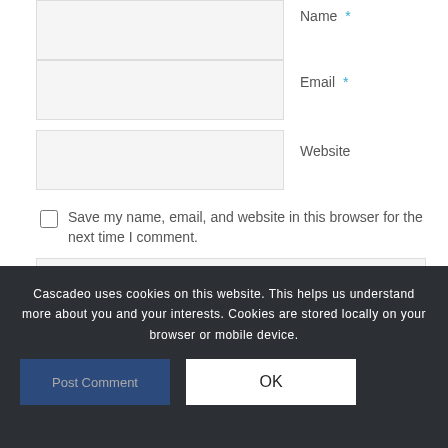Name *
Email *
Website
Save my name, email, and website in this browser for the next time I comment.
Cascadeo uses cookies on this website. This helps us understand more about you and your interests. Cookies are stored locally on your browser or mobile device.
Post Comment
OK